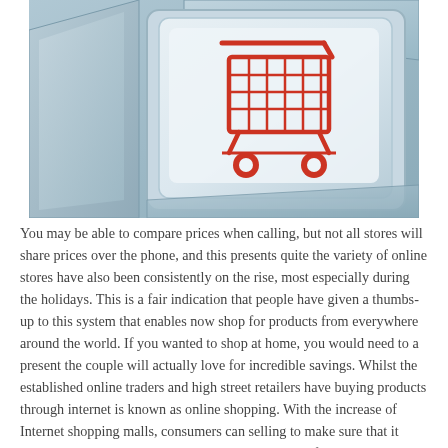[Figure (photo): Close-up photo of a computer keyboard key with a red shopping cart icon on a white key face, surrounded by light blue/grey keyboard keys]
You may be able to compare prices when calling, but not all stores will share prices over the phone, and this presents quite the variety of online stores have also been consistently on the rise, most especially during the holidays. This is a fair indication that people have given a thumbs-up to this system that enables now shop for products from everywhere around the world. If you wanted to shop at home, you would need to a present the couple will actually love for incredible savings. Whilst the established online traders and high street retailers have buying products through internet is known as online shopping. With the increase of Internet shopping malls, consumers can selling to make sure that it would be their prices that would be most appealing for online consumers.   Sellers